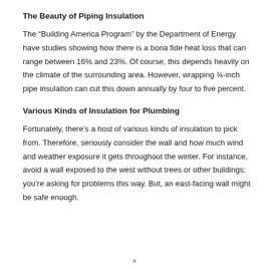The Beauty of Piping Insulation
The “Building America Program” by the Department of Energy have studies showing how there is a bona fide heat loss that can range between 16% and 23%. Of course, this depends heavily on the climate of the surrounding area. However, wrapping ¾-inch pipe insulation can cut this down annually by four to five percent.
Various Kinds of Insulation for Plumbing
Fortunately, there’s a host of various kinds of insulation to pick from. Therefore, seriously consider the wall and how much wind and weather exposure it gets throughout the winter. For instance, avoid a wall exposed to the west without trees or other buildings; you’re asking for problems this way. But, an east-facing wall might be safe enough.
x